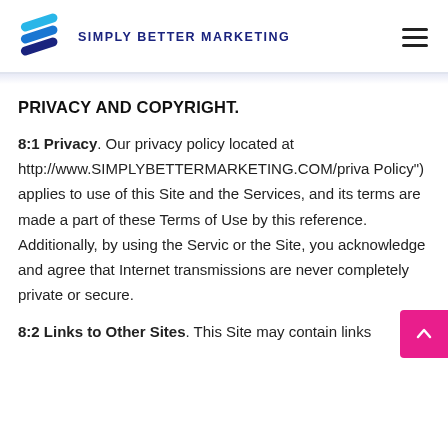SIMPLY BETTER MARKETING
PRIVACY AND COPYRIGHT.
8:1 Privacy. Our privacy policy located at http://www.SIMPLYBETTERMARKETING.COM/privacy Policy") applies to use of this Site and the Services, and its terms are made a part of these Terms of Use by this reference. Additionally, by using the Services or the Site, you acknowledge and agree that Internet transmissions are never completely private or secure.
8:2 Links to Other Sites. This Site may contain links